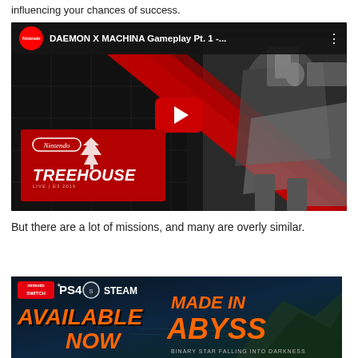influencing your chances of success.
[Figure (screenshot): YouTube video thumbnail for DAEMON X MACHINA Gameplay Pt. 1 - Nintendo Treehouse: Live | E3 2019, showing a mech robot on a dark background with red diagonal slash design elements and Nintendo logo]
But there are a lot of missions, and many are overly similar.
[Figure (illustration): Advertisement banner for Made In Abyss game showing platforms Nintendo Switch, PS4, Steam, with orange text reading AVAILABLE NOW and stylized MADE IN ABYSS logo with subtitle BINARY STAR FALLING INTO DARKNESS]